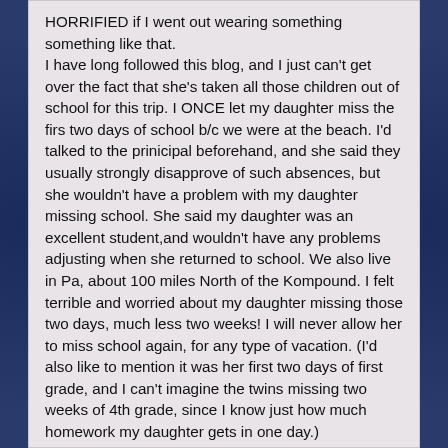HORRIFIED if I went out wearing something something like that. I have long followed this blog, and I just can't get over the fact that she's taken all those children out of school for this trip. I ONCE let my daughter miss the firs two days of school b/c we were at the beach. I'd talked to the prinicipal beforehand, and she said they usually strongly disapprove of such absences, but she wouldn't have a problem with my daughter missing school. She said my daughter was an excellent student,and wouldn't have any problems adjusting when she returned to school. We also live in Pa, about 100 miles North of the Kompound. I felt terrible and worried about my daughter missing those two days, much less two weeks! I will never allow her to miss school again, for any type of vacation. (I'd also like to mention it was her first two days of first grade, and I can't imagine the twins missing two weeks of 4th grade, since I know just how much homework my daughter gets in one day.)
January 4, 2011 at 10:54 AM